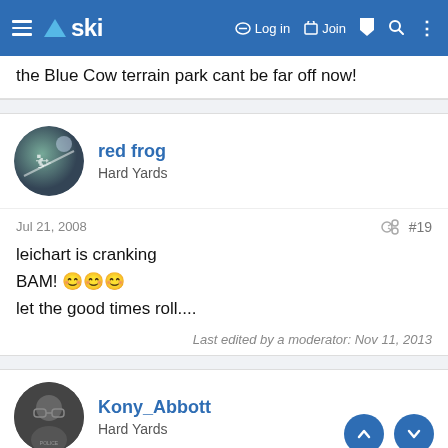ski — Log in  Join
the Blue Cow terrain park cant be far off now!
red frog
Hard Yards
Jul 21, 2008  #19
leichart is cranking
BAM! 😊😊😊
let the good times roll....
Last edited by a moderator: Nov 11, 2013
Kony_Abbott
Hard Yards